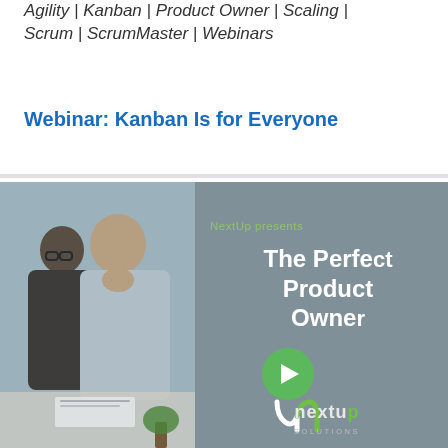Agility | Kanban | Product Owner | Scaling | Scrum | ScrumMaster | Webinars
Webinar: Kanban Is for Everyone
[Figure (photo): Left half shows two people collaborating at a desk, right half shows a dark overlay with text 'NextUp presents The Perfect Product Owner' and a green play button, with NextUp Solutions logo at the bottom right.]